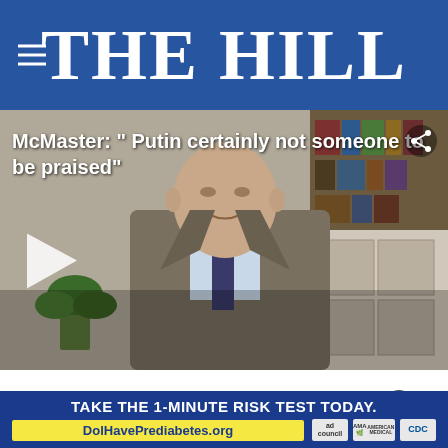THE HILL
[Figure (screenshot): Video thumbnail showing a man in a grey suit and dark tie speaking, with bookshelves in background. Title overlay reads: McMaster: " Putin certainly not someone to be praised"]
Former national security adviser H.R. McMaster said that praising Putin was not w... ack
[Figure (infographic): Advertisement banner: TAKE THE 1-MINUTE RISK TEST TODAY. DolHavePrediabetes.org with ad council, AMA, and CDC logos]